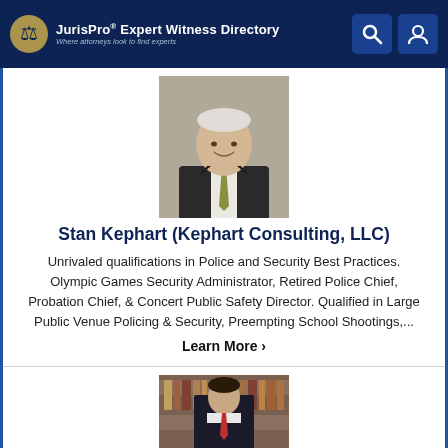JurisPro Expert Witness Directory — Where attorneys look to find experts
[Figure (photo): Professional headshot of Stan Kephart, an older gentleman in a dark suit with a green tie, smiling]
Stan Kephart (Kephart Consulting, LLC)
Unrivaled qualifications in Police and Security Best Practices. Olympic Games Security Administrator, Retired Police Chief, Probation Chief, & Concert Public Safety Director. Qualified in Large Public Venue Policing & Security, Preempting School Shootings,...
Learn More ›
[Figure (photo): Partial photo of a man in a dark suit standing in front of a law library bookshelf]